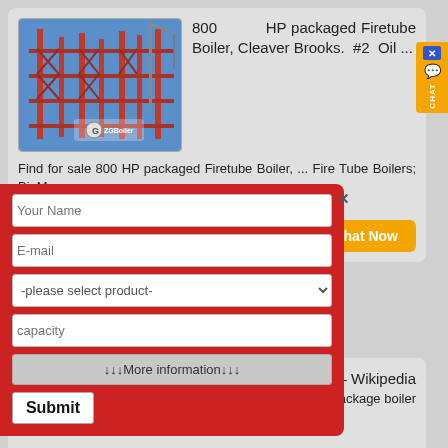[Figure (photo): Construction site with red steel framework/scaffolding and crane against blue sky. ZG Boiler logo visible.]
800 HP packaged Firetube Boiler, Cleaver Brooks. #2 Oil ...
Find for sale 800 HP packaged Firetube Boiler, ... Fire Tube Boilers; BioMass ...
Useful Links. Machine Listing – 800 HP –
Year: 2007: Weight
Chat Now
Package boiler – Wikipedia
A package boiler
Your Name
E-mail
-please select product-
capacity
↓↓↓More information↓↓↓
Submit